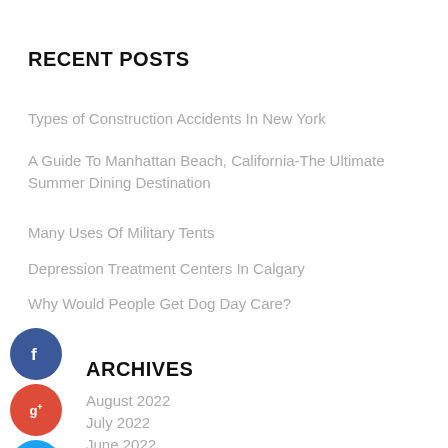RECENT POSTS
Types of Construction Accidents In New York
A Guide To Manhattan Beach, California-The Ultimate Summer Dining Destination
Many Uses Of Military Tents
Depression Treatment Centers In Calgary
Why Would People Get Dog Day Care?
[Figure (illustration): Social media share icons: Facebook (blue circle with f), Google+ (red circle with g+), Twitter (blue circle with bird), and a dark circle with plus sign, overlapping the content on the left side]
ARCHIVES
August 2022
July 2022
June 2022
May 2022
April 2022